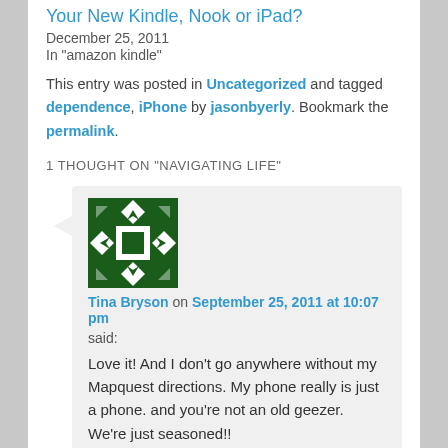Your New Kindle, Nook or iPad?
December 25, 2011
In "amazon kindle"
This entry was posted in Uncategorized and tagged dependence, iPhone by jasonbyerly. Bookmark the permalink.
1 THOUGHT ON "NAVIGATING LIFE"
[Figure (illustration): Green avatar/gravatar icon with geometric diamond and arrow pattern on dark green background]
Tina Bryson on September 25, 2011 at 10:07 pm said:
Love it! And I don't go anywhere without my Mapquest directions. My phone really is just a phone. and you're not an old geezer. We're just seasoned!!